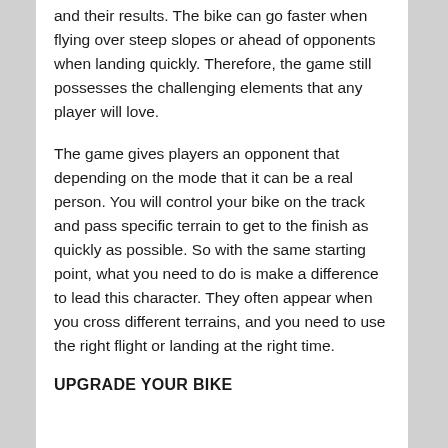and their results. The bike can go faster when flying over steep slopes or ahead of opponents when landing quickly. Therefore, the game still possesses the challenging elements that any player will love.
The game gives players an opponent that depending on the mode that it can be a real person. You will control your bike on the track and pass specific terrain to get to the finish as quickly as possible. So with the same starting point, what you need to do is make a difference to lead this character. They often appear when you cross different terrains, and you need to use the right flight or landing at the right time.
UPGRADE YOUR BIKE